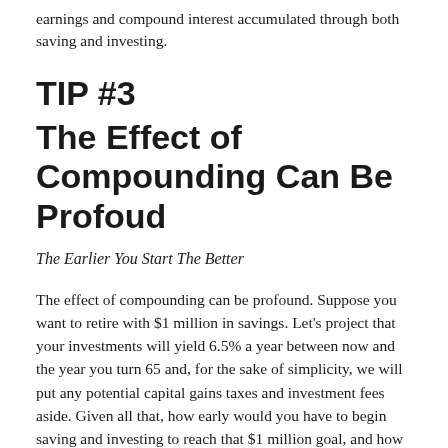earnings and compound interest accumulated through both saving and investing.
TIP #3
The Effect of Compounding Can Be Profoud
The Earlier You Start The Better
The effect of compounding can be profound. Suppose you want to retire with $1 million in savings. Let's project that your investments will yield 6.5% a year between now and the year you turn 65 and, for the sake of simplicity, we will put any potential capital gains taxes and investment fees aside. Given all that, how early would you have to begin saving and investing to reach that $1 million goal, and how much would you have to